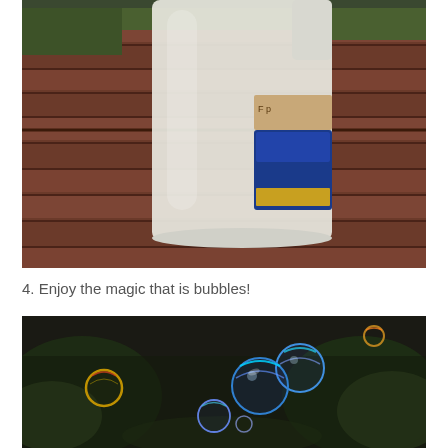[Figure (photo): A white translucent plastic gallon jug with a blue label sitting on a wooden deck with green plants visible in the background.]
4. Enjoy the magic that is bubbles!
[Figure (photo): Several colorful soap bubbles floating against a dark background with green foliage, showing iridescent rainbow colors.]